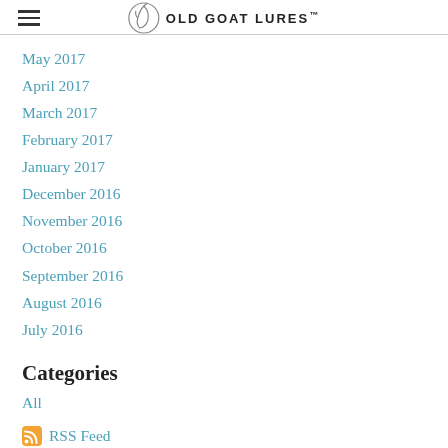OLD GOAT LURES™
May 2017
April 2017
March 2017
February 2017
January 2017
December 2016
November 2016
October 2016
September 2016
August 2016
July 2016
Categories
All
RSS Feed